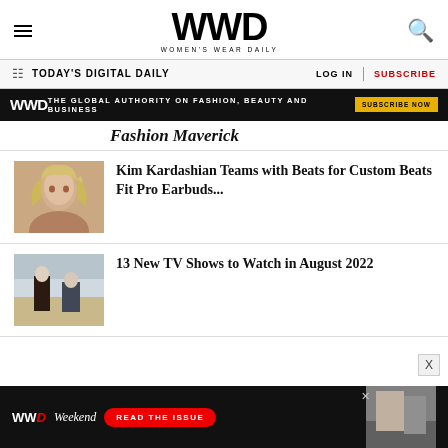WWD WOMEN'S WEAR DAILY
TODAY'S DIGITAL DAILY
[Figure (screenshot): WWD ad banner: The Global Authority on Fashion, Beauty and Business - Subscribe Now]
Fashion Maverick
[Figure (photo): Photo of Kim Kardashian with blonde hair]
Kim Kardashian Teams with Beats for Custom Beats Fit Pro Earbuds...
[Figure (photo): Photo of two people from a TV show on a sandy landscape]
13 New TV Shows to Watch in August 2022
[Figure (screenshot): WWD Weekend ad banner: Read The Issue]